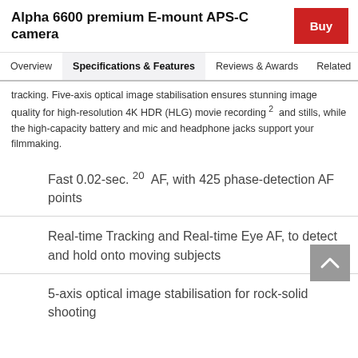Alpha 6600 premium E-mount APS-C camera
Overview | Specifications & Features | Reviews & Awards | Related | S
tracking. Five-axis optical image stabilisation ensures stunning image quality for high-resolution 4K HDR (HLG) movie recording 2  and stills, while the high-capacity battery and mic and headphone jacks support your filmmaking.
Fast 0.02-sec. 20  AF, with 425 phase-detection AF points
Real-time Tracking and Real-time Eye AF, to detect and hold onto moving subjects
5-axis optical image stabilisation for rock-solid shooting